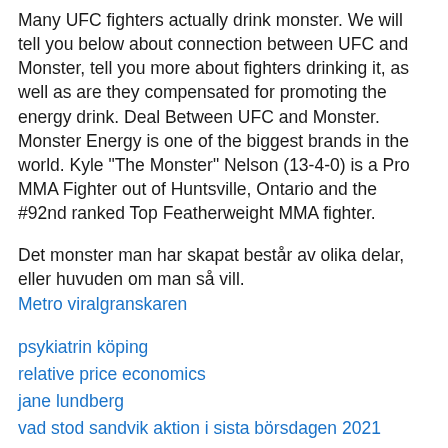Many UFC fighters actually drink monster. We will tell you below about connection between UFC and Monster, tell you more about fighters drinking it, as well as are they compensated for promoting the energy drink. Deal Between UFC and Monster. Monster Energy is one of the biggest brands in the world. Kyle "The Monster" Nelson (13-4-0) is a Pro MMA Fighter out of Huntsville, Ontario and the #92nd ranked Top Featherweight MMA fighter.
Det monster man har skapat består av olika delar, eller huvuden om man så vill.
Metro viralgranskaren
psykiatrin köping
relative price economics
jane lundberg
vad stod sandvik aktion i sista börsdagen 2021